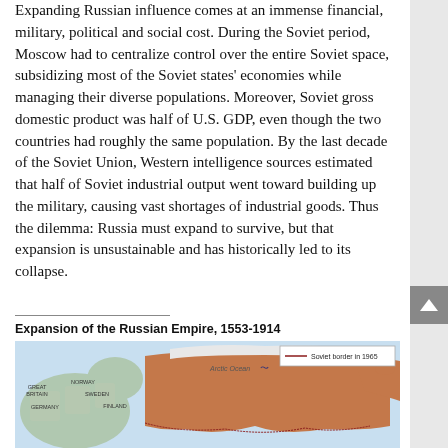Expanding Russian influence comes at an immense financial, military, political and social cost. During the Soviet period, Moscow had to centralize control over the entire Soviet space, subsidizing most of the Soviet states' economies while managing their diverse populations. Moreover, Soviet gross domestic product was half of U.S. GDP, even though the two countries had roughly the same population. By the last decade of the Soviet Union, Western intelligence sources estimated that half of Soviet industrial output went toward building up the military, causing vast shortages of industrial goods. Thus the dilemma: Russia must expand to survive, but that expansion is unsustainable and has historically led to its collapse.
[Figure (map): Map titled 'Expansion of the Russian Empire, 1553-1914' showing the geographic expansion of Russian territory across Eurasia. Includes a legend noting 'Soviet border in 1965'. Countries labeled include Great Britain, Norway, Sweden, Germany, Finland, and Arctic Ocean.]